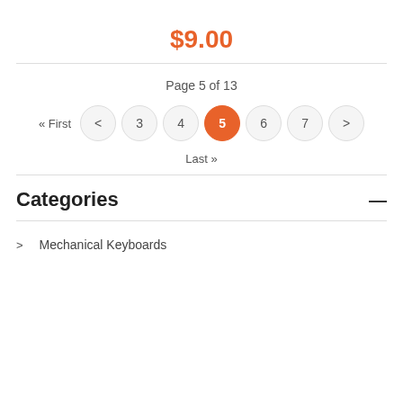$9.00
Page 5 of 13
« First < 3 4 5 6 7 > Last »
Categories
> Mechanical Keyboards